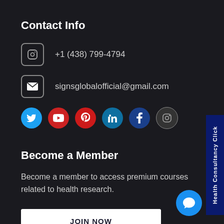Contact Info
+1 (438) 799-4794
signsglobalofficial@gmail.com
[Figure (infographic): Social media icons row: Twitter (blue), YouTube (red), Pinterest (red), LinkedIn (light blue), Facebook (dark blue), Instagram (gray outline)]
Become a Member
Become a member to access premium courses related to health research.
JOIN NOW
[Figure (infographic): Side panel with rotated text: Health Consultancy Click, dark blue background]
[Figure (infographic): Blue circle chat bubble icon in bottom right]